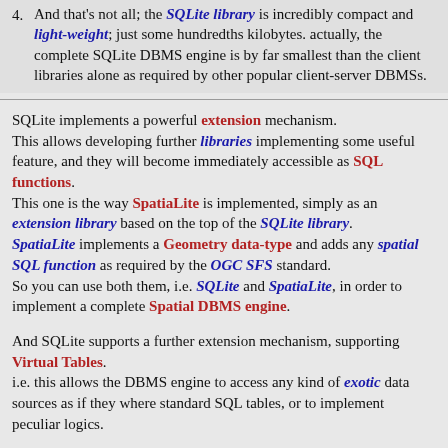4. And that's not all; the SQLite library is incredibly compact and light-weight; just some hundredths kilobytes. actually, the complete SQLite DBMS engine is by far smallest than the client libraries alone as required by other popular client-server DBMSs.
SQLite implements a powerful extension mechanism. This allows developing further libraries implementing some useful feature, and they will become immediately accessible as SQL functions. This one is the way SpatiaLite is implemented, simply as an extension library based on the top of the SQLite library. SpatiaLite implements a Geometry data-type and adds any spatial SQL function as required by the OGC SFS standard. So you can use both them, i.e. SQLite and SpatiaLite, in order to implement a complete Spatial DBMS engine.
And SQLite supports a further extension mechanism, supporting Virtual Tables. i.e. this allows the DBMS engine to access any kind of exotic data sources as if they where standard SQL tables, or to implement peculiar logics.